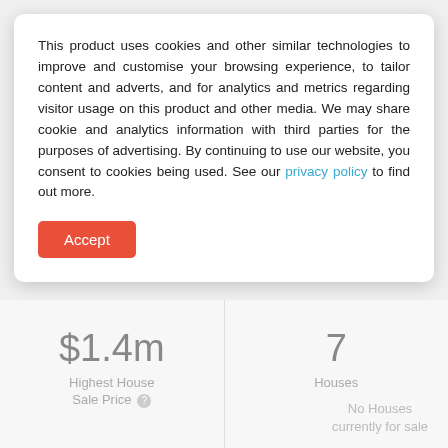This product uses cookies and other similar technologies to improve and customise your browsing experience, to tailor content and adverts, and for analytics and metrics regarding visitor usage on this product and other media. We may share cookie and analytics information with third parties for the purposes of advertising. By continuing to use our website, you consent to cookies being used. See our privacy policy to find out more.
Accept
$1.4m
Highest House Sale Price
7
Houses
No Houses currently for sale